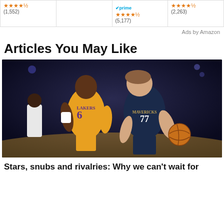[Figure (other): Amazon product ad strip showing 4 product cells. First cell shows review count (1,552) with star rating. Second cell is mostly empty. Third cell shows Amazon Prime badge with star rating (5,177) reviews. Fourth cell shows star rating with (2,263) reviews.]
Ads by Amazon
Articles You May Like
[Figure (photo): NBA basketball game photo showing LeBron James in Lakers #6 yellow jersey defending Luka Doncic in Mavericks #77 dark jersey who is dribbling the basketball. Dark arena background.]
Stars, snubs and rivalries: Why we can't wait for